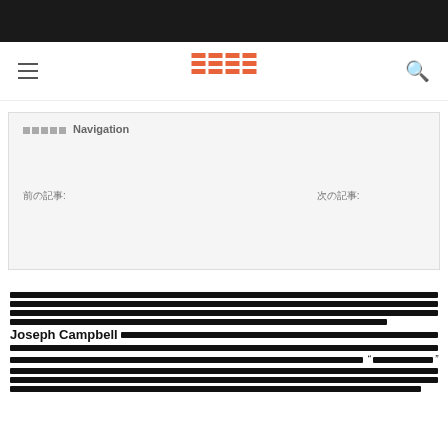[top black navigation bar]
[Figure (screenshot): Website navigation bar with hamburger menu icon on left, orange grid logo in center, and search icon on right]
Navigation
Previous post navigation link and Next post navigation link
Redacted article text beginning with Joseph Campbell